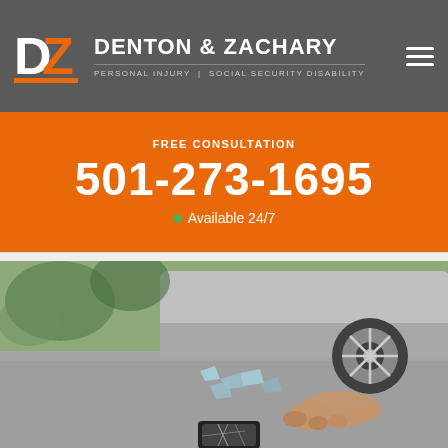DENTON & ZACHARY — PERSONAL INJURY | SOCIAL SECURITY DISABILITY
FREE CONSULTATION
501-273-1695
Available 24/7
[Figure (photo): Accident scene showing a person lying on the ground near a car, with a broken smartphone on the pavement and broken glass scattered around.]